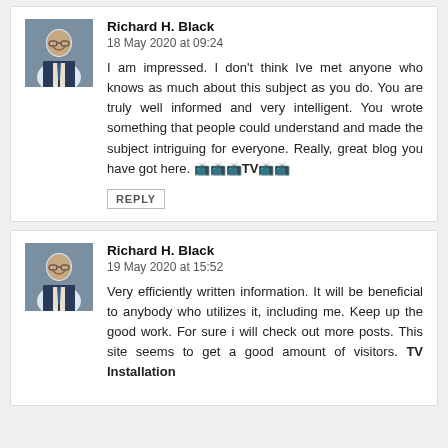Richard H. Black
18 May 2020 at 09:24

I am impressed. I don't think Ive met anyone who knows as much about this subject as you do. You are truly well informed and very intelligent. You wrote something that people could understand and made the subject intriguing for everyone. Really, great blog you have got here. 📺TV📺

REPLY
Richard H. Black
19 May 2020 at 15:52

Very efficiently written information. It will be beneficial to anybody who utilizes it, including me. Keep up the good work. For sure i will check out more posts. This site seems to get a good amount of visitors. TV Installation